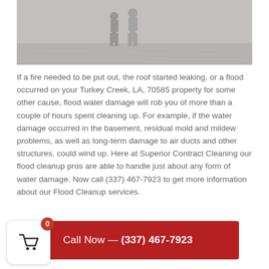[Figure (photo): Two people standing in flood water, viewed from behind, with reflections on the water surface. Muted gray/brown tones.]
If a fire needed to be put out, the roof started leaking, or a flood occurred on your Turkey Creek, LA, 70585 property for some other cause, flood water damage will rob you of more than a couple of hours spent cleaning up. For example, if the water damage occurred in the basement, residual mold and mildew problems, as well as long-term damage to air ducts and other structures, could wind up. Here at Superior Contract Cleaning our flood cleanup pros are able to handle just about any form of water damage. Now call (337) 467-7923 to get more information about our Flood Cleanup services.
[Figure (infographic): Red call-to-action bar reading 'Call Now — (337) 467-7923' with a shopping cart widget overlay showing badge count 0]